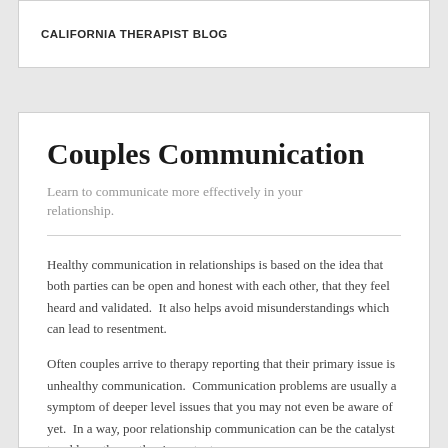CALIFORNIA THERAPIST BLOG
Couples Communication
Learn to communicate more effectively in your relationship.
Healthy communication in relationships is based on the idea that both parties can be open and honest with each other, that they feel heard and validated.  It also helps avoid misunderstandings which can lead to resentment.
Often couples arrive to therapy reporting that their primary issue is unhealthy communication.  Communication problems are usually a symptom of deeper level issues that you may not even be aware of yet.  In a way, poor relationship communication can be the catalyst to address these other important areas.